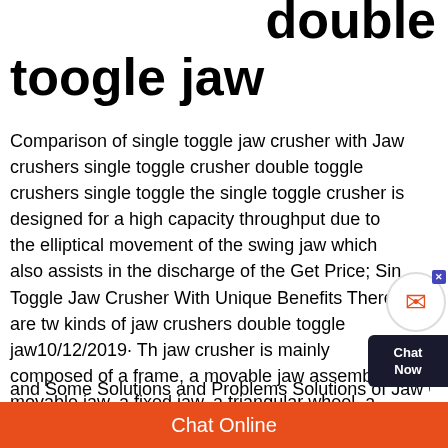double toogle jaw
Comparison of single toggle jaw crusher with Jaw crushers single toggle crusher double toggle crushers single toggle the single toggle crusher is designed for a high capacity throughput due to the elliptical movement of the swing jaw which also assists in the discharge of the Get Price; Single Toggle Jaw Crusher With Unique Benefits There are two kinds of jaw crushers double toggle jaw10/12/2019· The jaw crusher is mainly composed of a frame, a movable jaw assembly, a movable jaw, a fixed jaw, a triangular wheel, a flywheel, a bracket, a side guard, a discharge port adjusting device and a driving device Because of its simple structure, easy manufacture, reliable operation and convenient maintenance, it has been widely used in crushing operations in metallurgy, chemical industry and...
Chat Online